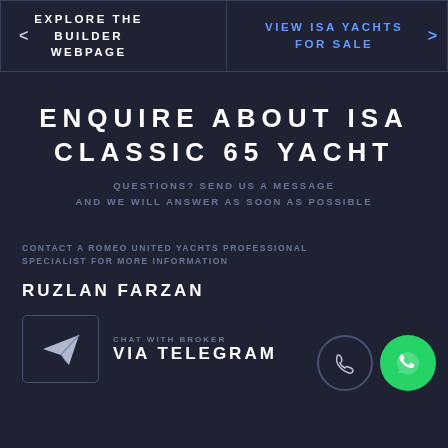< EXPLORE THE BUILDER WEBPAGE
VIEW ISA YACHTS FOR SALE >
ENQUIRE ABOUT ISA CLASSIC 65 YACHT
QUESTIONS? SEND US A MESSAGE AND WE WILL ANSWER AS SOON AS POSSIBLE
CONTACT A ROMEO UNITED YACHTS PROFESSIONAL SPECIALIST FOR MORE INFORMATION
RUZLAN FARZAN
CHAT WITH BROKER VIA TELEGRAM